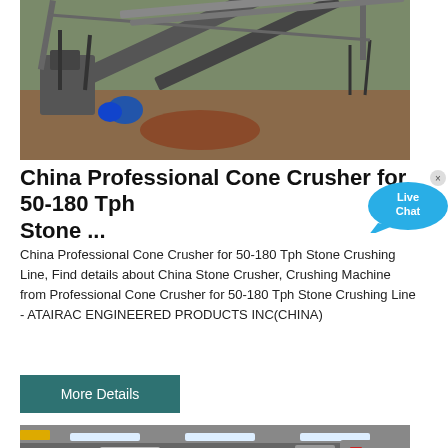[Figure (photo): Aerial/overhead view of a stone crushing line with conveyor belts, machinery, and industrial equipment on a construction or mining site.]
China Professional Cone Crusher for 50-180 Tph Stone ...
China Professional Cone Crusher for 50-180 Tph Stone Crushing Line, Find details about China Stone Crusher, Crushing Machine from Professional Cone Crusher for 50-180 Tph Stone Crushing Line - ATAIRAC ENGINEERED PRODUCTS INC(CHINA)
More Details
[Figure (photo): Interior of a factory or industrial facility showing heavy machinery, equipment with red and white components, and overhead lighting.]